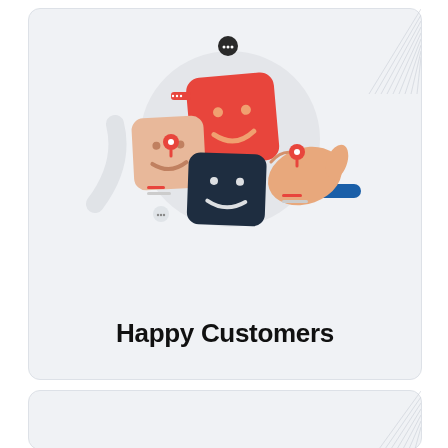[Figure (illustration): Illustration of happy customer feedback: a hand selecting a smiley face card from three emoji-style cards (red with happy face, peach/light with happy face, dark navy with happy face) on a light grey circular background, with small chat bubble and location pin decorations around.]
Happy Customers
[Figure (other): Partial second card visible at bottom, showing a grey rounded rectangle card with diagonal line decorations at top-right, and an orange chat widget bar reading 'Real Person Online!' with a chat icon.]